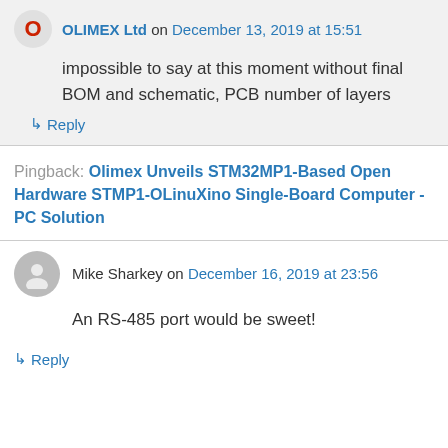OLIMEX Ltd on December 13, 2019 at 15:51
impossible to say at this moment without final BOM and schematic, PCB number of layers
↳ Reply
Pingback: Olimex Unveils STM32MP1-Based Open Hardware STMP1-OLinuXino Single-Board Computer - PC Solution
Mike Sharkey on December 16, 2019 at 23:56
An RS-485 port would be sweet!
↳ Reply